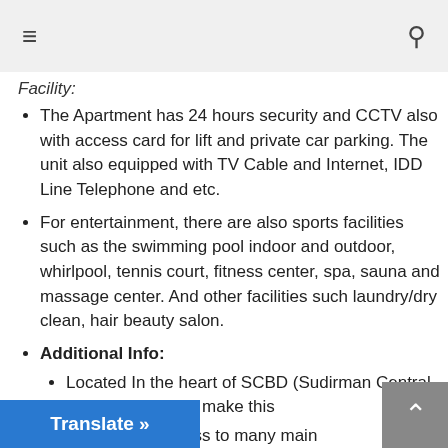≡  (hamburger menu) and search icon
Facility:
The Apartment has 24 hours security and CCTV also with access card for lift and private car parking. The unit also equipped with TV Cable and Internet, IDD Line Telephone and etc.
For entertainment, there are also sports facilities such as the swimming pool indoor and outdoor, whirlpool, tennis court, fitness center, spa, sauna and massage center. And other facilities such laundry/dry clean, hair beauty salon.
Additional Info:
Located In the heart of SCBD (Sudirman Central Business District) make this
nt has easy access to many main
Translate »